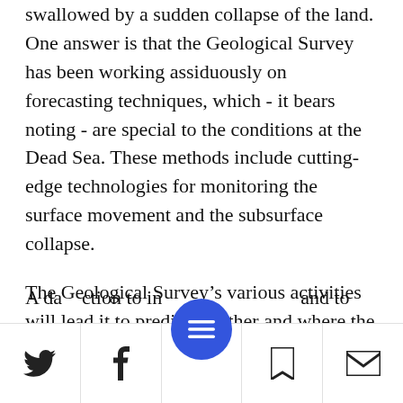swallowed by a sudden collapse of the land. One answer is that the Geological Survey has been working assiduously on forecasting techniques, which - it bears noting - are special to the conditions at the Dead Sea. These methods include cutting-edge technologies for monitoring the surface movement and the subsurface collapse.
The Geological Survey's various activities will lead it to predict whether and where the newly constructed road is safe, sinkhole-wise, Baer explains.
A da ction to in ...
toolbar with Twitter, Facebook, menu, bookmark, mail icons